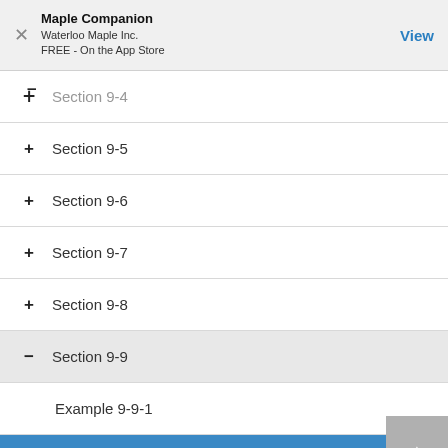Maple Companion
Waterloo Maple Inc.
FREE - On the App Store
Section 9-4
Section 9-5
Section 9-6
Section 9-7
Section 9-8
Section 9-9
Example 9-9-1
Example 9-9-2
Example 9-9-3